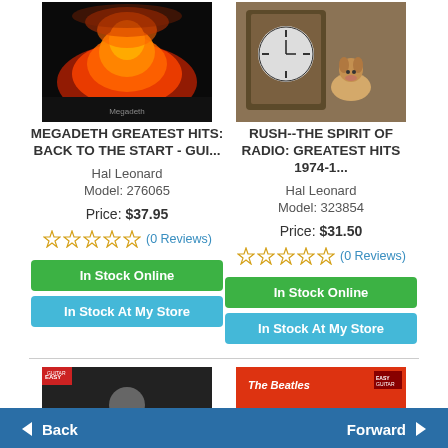[Figure (photo): Megadeth Greatest Hits album cover - orange mushroom cloud explosion on black background]
[Figure (photo): Rush The Spirit of Radio Greatest Hits album cover - clock and dog on wooden surface]
MEGADETH GREATEST HITS: BACK TO THE START - GUI...
RUSH--THE SPIRIT OF RADIO: GREATEST HITS 1974-1...
Hal Leonard
Model: 276065
Price: $37.95
Hal Leonard
Model: 323854
Price: $31.50
(0 Reviews)
(0 Reviews)
In Stock Online
In Stock At My Store
In Stock Online
In Stock At My Store
[Figure (photo): Black and white photo of guitarist - ZZ Top Greatest Hits style cover]
[Figure (photo): The Beatles 1 album cover - red and orange with large number 1]
Back
Forward